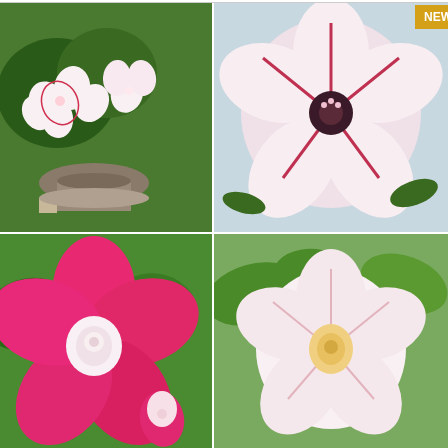[Figure (photo): Product image grid showing four different Adenium obesum (Desert Rose) flower varieties: top-left shows white/pink flowers with a plant in a pot, top-right shows a large pink/white single flower with red stripes, bottom-left shows bright magenta/pink flowers, bottom-right shows a pale pink flower. A 'NEW' badge appears in the top-right corner of the grid.]
ADENIUM obesum Single Striped Mix - Desert Rose
$9.90
BUY NOW
[Figure (photo): Partial view of a second product image with a 'NEW' badge in the top-right corner, cut off at the bottom of the page.]